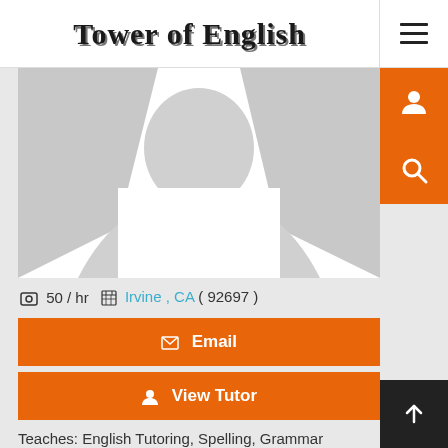Tower of English
[Figure (illustration): Profile silhouette placeholder image — gray shoulder/head shape on white background]
50 / hr   Irvine , CA ( 92697 )
Email
View Tutor
Teaches: English Tutoring, Spelling, Grammar
Daniel T. is a Private